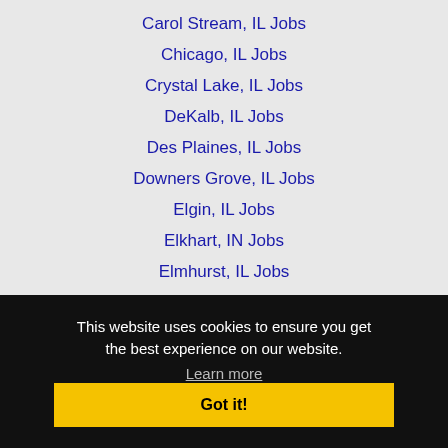Carol Stream, IL Jobs
Chicago, IL Jobs
Crystal Lake, IL Jobs
DeKalb, IL Jobs
Des Plaines, IL Jobs
Downers Grove, IL Jobs
Elgin, IL Jobs
Elkhart, IN Jobs
Elmhurst, IL Jobs
This website uses cookies to ensure you get the best experience on our website.
Learn more
Got it!
Lombard, IL Jobs